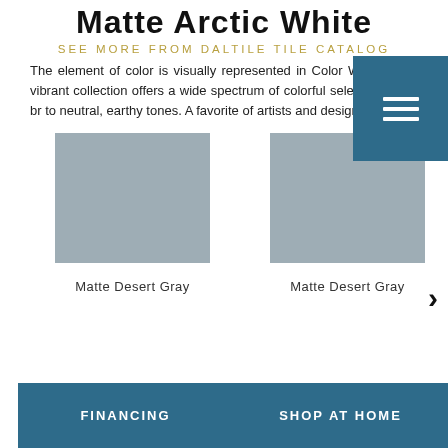Matte Arctic White
SEE MORE FROM DALTILE TILE CATALOG
The element of color is visually represented in Color Wheel. This vibrant collection offers a wide spectrum of colorful selections from br... to neutral, earthy tones. A favorite of artists and designe...
[Figure (other): Menu overlay button with three horizontal white lines on dark teal background]
[Figure (photo): Gray tile swatch labeled Matte Desert Gray]
Matte Desert Gray
[Figure (photo): Gray tile swatch labeled Matte Desert Gray]
Matte Desert Gray
FINANCING
SHOP AT HOME